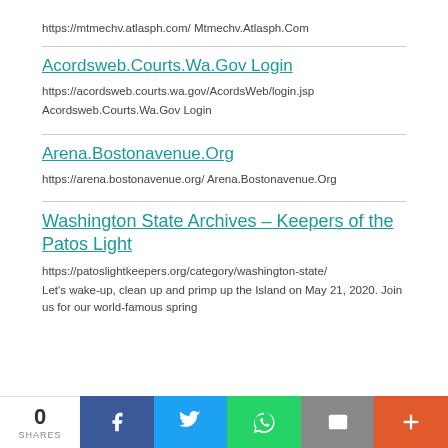https://mtmechv.atlasph.com/ Mtmechv.Atlasph.Com
Acordsweb.Courts.Wa.Gov Login
https://acordsweb.courts.wa.gov/AcordsWeb/login.jsp
Acordsweb.Courts.Wa.Gov Login
Arena.Bostonavenue.Org
https://arena.bostonavenue.org/ Arena.Bostonavenue.Org
Washington State Archives – Keepers of the Patos Light
https://patoslightkeepers.org/category/washington-state/
Let's wake-up, clean up and primp up the Island on May 21, 2020. Join us for our world-famous spring
0 SHARES | Facebook | Twitter | WhatsApp | Email | More